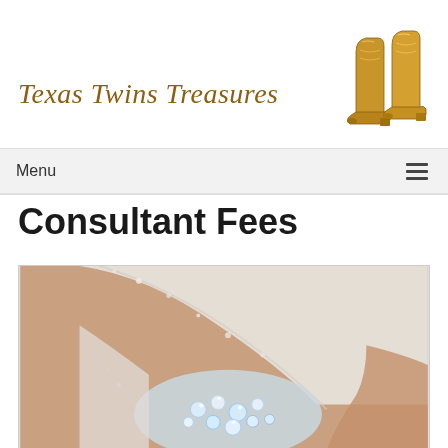[Figure (logo): Texas Twins Treasures logo with cursive brown/gold text and golden cowboy boots image on the right]
Menu
Consultant Fees
[Figure (photo): Close-up photo of a bride holding a sparkling jeweled bouquet, wearing a white beaded/lace wedding dress]